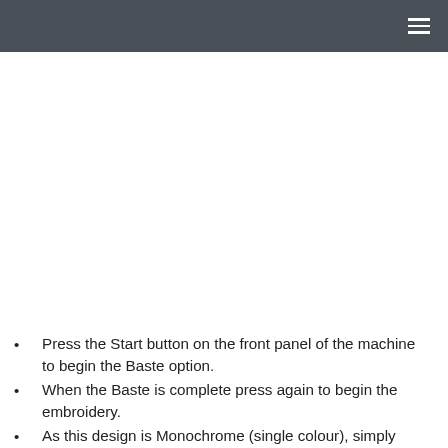Press the Start button on the front panel of the machine to begin the Baste option.
When the Baste is complete press again to begin the embroidery.
As this design is Monochrome (single colour), simply